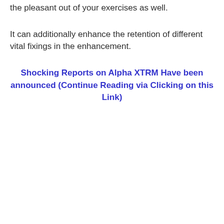the pleasant out of your exercises as well.
It can additionally enhance the retention of different vital fixings in the enhancement.
Shocking Reports on Alpha XTRM Have been announced (Continue Reading via Clicking on this Link)